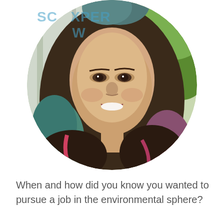[Figure (photo): Circular cropped portrait photo of a smiling young woman with long curly hair featuring teal/blue and purple/pink color-dyed ends, wearing a floral patterned top. Green foliage visible in background. Partial watermark text 'SC... XPER... W...' in light blue visible in upper-left area.]
When and how did you know you wanted to pursue a job in the environmental sphere?